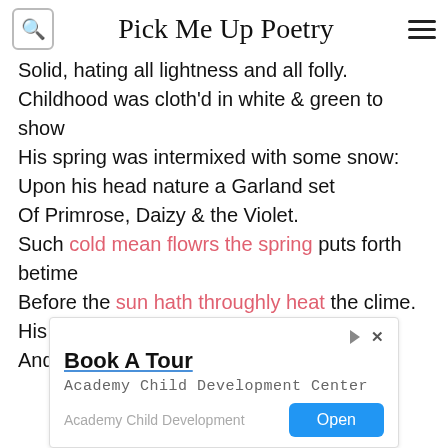Pick Me Up Poetry
Solid, hating all lightness and all folly.
Childhood was cloth'd in white & green to show
His spring was intermixed with some snow:
Upon his head nature a Garland set
Of Primrose, Daizy & the Violet.
Such cold mean flowrs the spring puts forth betime
Before the sun hath throughly heat the clime.
His hobby striding did not ride but run,
And in his hand an hour-glass new begun,
[Figure (other): Advertisement for Academy Child Development Center with Book A Tour heading and Open button]